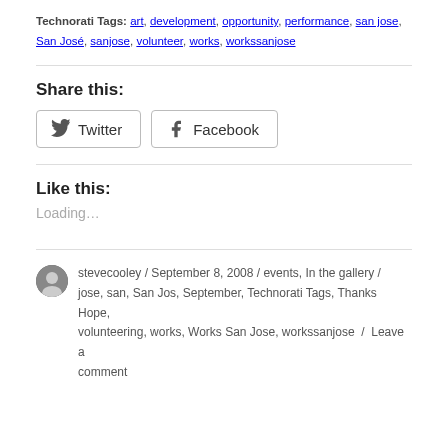Technorati Tags: art, development, opportunity, performance, san jose, San José, sanjose, volunteer, works, workssanjose
Share this:
[Figure (other): Twitter and Facebook share buttons]
Like this:
Loading...
stevecooley / September 8, 2008 / events, In the gallery / jose, san, San Jos, September, Technorati Tags, Thanks Hope, volunteering, works, Works San Jose, workssanjose / Leave a comment